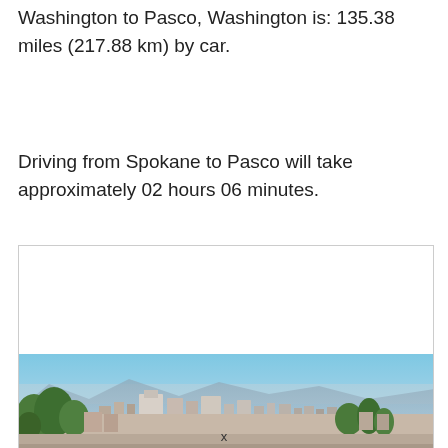Washington to Pasco, Washington is: 135.38 miles (217.88 km) by car.
Driving from Spokane to Pasco will take approximately 02 hours 06 minutes.
[Figure (photo): Panoramic aerial view of a city (Spokane, Washington) showing urban buildings, trees in the foreground, and mountains and blue sky in the background.]